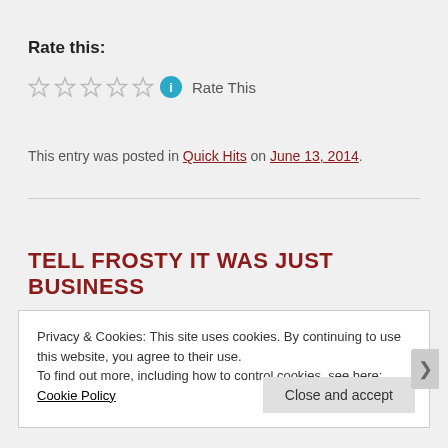Rate this:
Rate This (stars widget with info icon)
This entry was posted in Quick Hits on June 13, 2014.
TELL FROSTY IT WAS JUST BUSINESS
Privacy & Cookies: This site uses cookies. By continuing to use this website, you agree to their use.
To find out more, including how to control cookies, see here: Cookie Policy